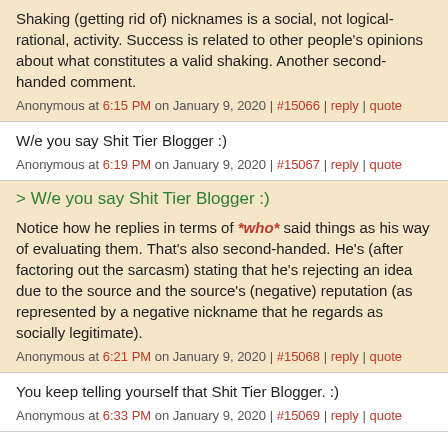Shaking (getting rid of) nicknames is a social, not logical-rational, activity. Success is related to other people's opinions about what constitutes a valid shaking. Another second-handed comment.
Anonymous at 6:15 PM on January 9, 2020 | #15066 | reply | quote
W/e you say Shit Tier Blogger :)
Anonymous at 6:19 PM on January 9, 2020 | #15067 | reply | quote
> W/e you say Shit Tier Blogger :)
Notice how he replies in terms of *who* said things as his way of evaluating them. That's also second-handed. He's (after factoring out the sarcasm) stating that he's rejecting an idea due to the source and the source's (negative) reputation (as represented by a negative nickname that he regards as socially legitimate).
Anonymous at 6:21 PM on January 9, 2020 | #15068 | reply | quote
You keep telling yourself that Shit Tier Blogger. :)
Anonymous at 6:33 PM on January 9, 2020 | #15069 | reply | quote